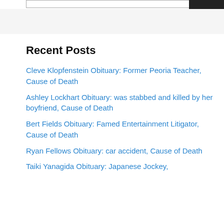[Figure (screenshot): Top navigation bar with a search input field and a dark search button]
Recent Posts
Cleve Klopfenstein Obituary: Former Peoria Teacher, Cause of Death
Ashley Lockhart Obituary: was stabbed and killed by her boyfriend, Cause of Death
Bert Fields Obituary: Famed Entertainment Litigator, Cause of Death
Ryan Fellows Obituary: car accident, Cause of Death
Taiki Yanagida Obituary: Japanese Jockey,